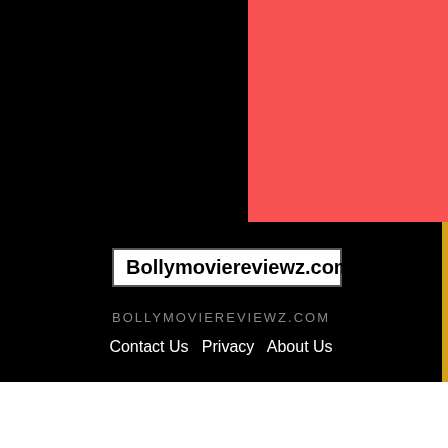[Figure (logo): Bollymoviereviewz.com website footer/branding page with black background, red/coral rectangle top-right, gold strip on right, white-bordered logo box, domain text, and navigation links]
Bollymoviereviewz.com
BOLLYMOVIEREVIEWZ.COM
Contact Us   Privacy   About Us